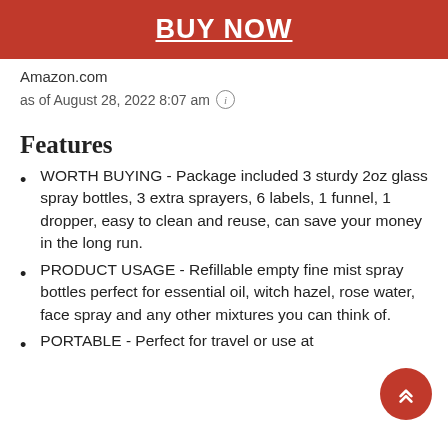[Figure (other): Red BUY NOW button with white underlined bold text]
Amazon.com
as of August 28, 2022 8:07 am ℹ
Features
WORTH BUYING - Package included 3 sturdy 2oz glass spray bottles, 3 extra sprayers, 6 labels, 1 funnel, 1 dropper, easy to clean and reuse, can save your money in the long run.
PRODUCT USAGE - Refillable empty fine mist spray bottles perfect for essential oil, witch hazel, rose water, face spray and any other mixtures you can think of.
PORTABLE - Perfect for travel or use at